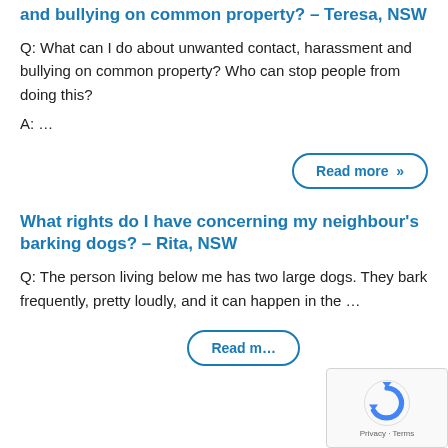and bullying on common property? – Teresa, NSW
Q: What can I do about unwanted contact, harassment and bullying on common property? Who can stop people from doing this?
A: …
Read more »
What rights do I have concerning my neighbour's barking dogs? – Rita, NSW
Q: The person living below me has two large dogs. They bark frequently, pretty loudly, and it can happen in the …
Read m…